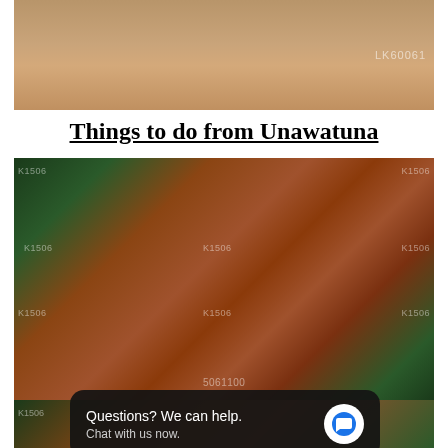[Figure (photo): Outdoor photo with sandy ground and a person with backpack, watermark LK60061]
Things to do from Unawatuna
[Figure (photo): Upward angle photo of a multi-storey terracotta/orange building with white columns and bamboo plants, watermarks K1506]
[Figure (photo): Partial lower portion of the same building photo with chat overlay]
Questions? We can help.
Chat with us now.